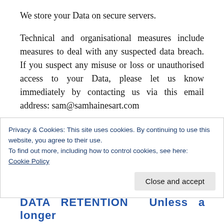We store your Data on secure servers.
Technical and organisational measures include measures to deal with any suspected data breach. If you suspect any misuse or loss or unauthorised access to your Data, please let us know immediately by contacting us via this email address: sam@samhainesart.com
If you want detailed information from Get Safe Online on how to protect your information and your computers and
Privacy & Cookies: This site uses cookies. By continuing to use this website, you agree to their use.
To find out more, including how to control cookies, see here:
Cookie Policy
Close and accept
DATA   RETENTION       Unless   a   longer